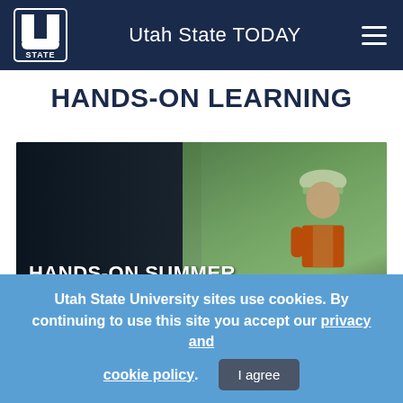Utah State TODAY
HANDS-ON LEARNING
[Figure (screenshot): Video thumbnail showing a person wearing a hard hat and orange safety vest outdoors in a forested area. Text overlay reads 'HANDS-ON SUMMER' and 'USU INTERNS HELP U.S. FOREST SERVICE' with a play button in the center.]
Utah State University sites use cookies. By continuing to use this site you accept our privacy and cookie policy.